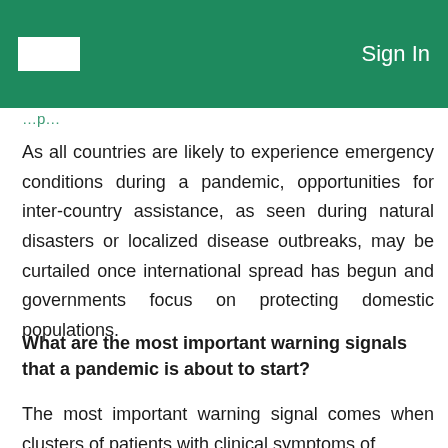Sign In
As all countries are likely to experience emergency conditions during a pandemic, opportunities for inter-country assistance, as seen during natural disasters or localized disease outbreaks, may be curtailed once international spread has begun and governments focus on protecting domestic populations.
What are the most important warning signals that a pandemic is about to start?
The most important warning signal comes when clusters of patients with clinical symptoms of